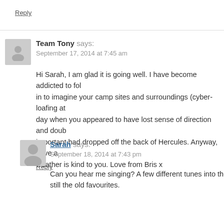Reply
Team Tony says:
September 17, 2014 at 7:45 am
Hi Sarah, I am glad it is going well. I have become addicted to following you – tuning in to imagine your camp sites and surroundings (cyber-loafing at its best). Especially the day when you appeared to have lost sense of direction and doubted whether something important had dropped off the back of Hercules. Anyway, have a wonderful trip and I hope the weather is kind to you. Love from Bris x
Reply
Sarah says:
September 18, 2014 at 7:43 pm
Can you hear me singing? A few different tunes into the wind but still the old favourites.